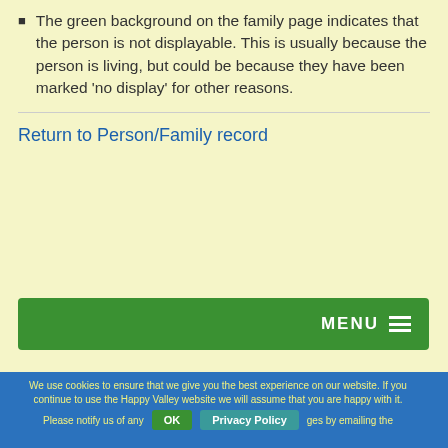The green background on the family page indicates that the person is not displayable. This is usually because the person is living, but could be because they have been marked 'no display' for other reasons.
Return to Person/Family record
[Figure (other): Green navigation menu bar with MENU text and hamburger icon]
We use cookies to ensure that we give you the best experience on our website. If you continue to use the Happy Valley website we will assume that you are happy with it.
Please notify us of any changes by emailing the webmaster.